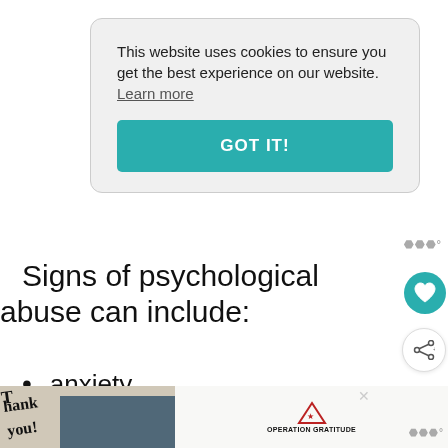This website uses cookies to ensure you get the best experience on our website. Learn more
GOT IT!
Signs of psychological abuse can include:
anxiety
anger
fear
[Figure (screenshot): WHAT'S NEXT panel with thumbnail image and text 'What Are The Different...']
[Figure (photo): Bottom advertisement banner with 'Thank you' handwritten text, firefighters photo, and Operation Gratitude logo]